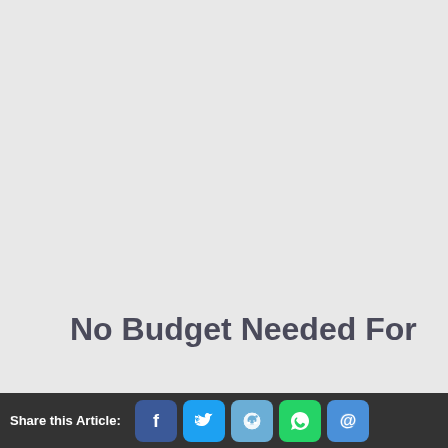[Figure (illustration): Large light gray placeholder image area occupying the top portion of the page]
No Budget Needed For These Games
Share this Article: [Facebook] [Twitter] [Reddit] [WhatsApp] [Email]